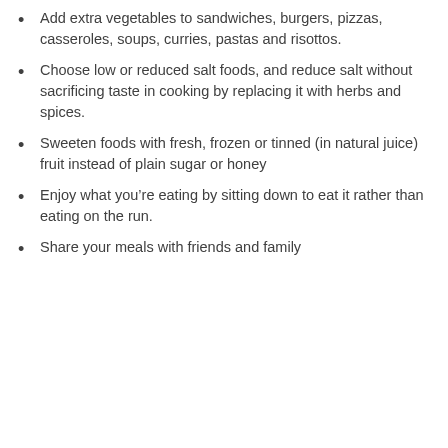Add extra vegetables to sandwiches, burgers, pizzas, casseroles, soups, curries, pastas and risottos.
Choose low or reduced salt foods, and reduce salt without sacrificing taste in cooking by replacing it with herbs and spices.
Sweeten foods with fresh, frozen or tinned (in natural juice) fruit instead of plain sugar or honey
Enjoy what you’re eating by sitting down to eat it rather than eating on the run.
Share your meals with friends and family